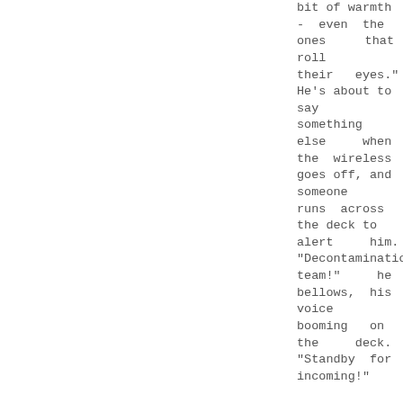bit of warmth - even the ones that roll their eyes." He's about to say something else when the wireless goes off, and someone runs across the deck to alert him. "Decontamination team!" he bellows, his voice booming on the deck. "Standby for incoming!"

The young ensign gives